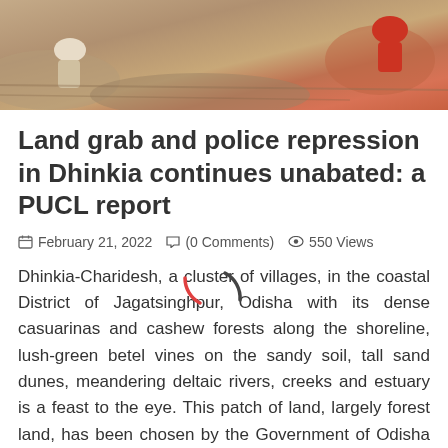[Figure (photo): Aerial or ground-level photo of people working on brown/sandy soil, with red clothing visible on one figure]
Land grab and police repression in Dhinkia continues unabated: a PUCL report
February 21, 2022  (0 Comments)  550 Views
Dhinkia-Charidesh, a cluster of villages, in the coastal District of Jagatsinghpur, Odisha with its dense casuarinas and cashew forests along the shoreline, lush-green betel vines on the sandy soil, tall sand dunes, meandering deltaic rivers, creeks and estuary is a feast to the eye. This patch of land, largely forest land, has been chosen by the Government of Odisha to hand over to the JSW for its proposed mega steel